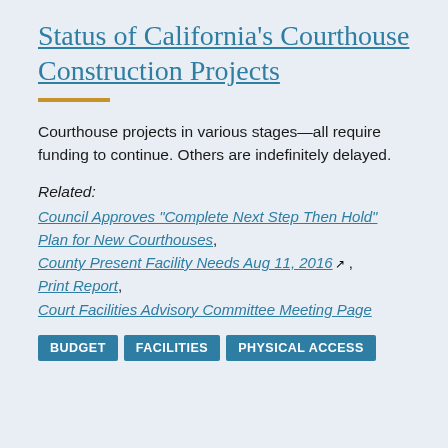Status of California's Courthouse Construction Projects
Courthouse projects in various stages—all require funding to continue. Others are indefinitely delayed.
Related:
Council Approves “Complete Next Step Then Hold” Plan for New Courthouses,
County Present Facility Needs Aug 11, 2016 [external link],
Print Report,
Court Facilities Advisory Committee Meeting Page
BUDGET   FACILITIES   PHYSICAL ACCESS